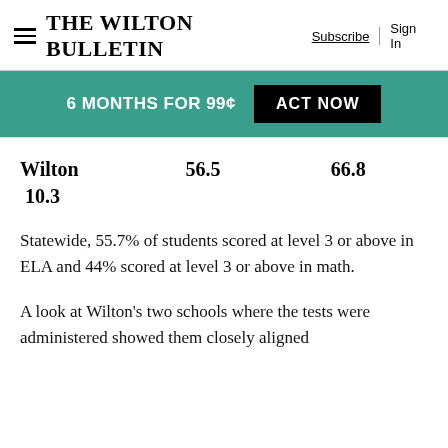THE WILTON BULLETIN | Subscribe | Sign In
[Figure (other): Promotional banner: 6 MONTHS FOR 99¢ ACT NOW button on teal background]
| Wilton | 56.5 | 66.8 |
| 10.3 |  |  |
Statewide, 55.7% of students scored at level 3 or above in ELA and 44% scored at level 3 or above in math.
A look at Wilton's two schools where the tests were administered showed them closely aligned